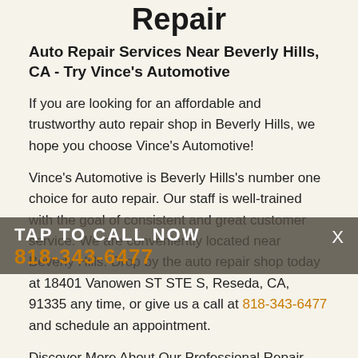Repair
Auto Repair Services Near Beverly Hills, CA - Try Vince's Automotive
If you are looking for an affordable and trustworthy auto repair shop in Beverly Hills, we hope you choose Vince's Automotive!
Vince's Automotive is Beverly Hills's number one choice for auto repair. Our staff is well-trained with the goal of consistent and great customer service. We are conveniently located near Beverly Hills. Drop by the auto repair shop today at 18401 Vanowen ST STE S, Reseda, CA, 91335 any time, or give us a call at 818-343-6477 and schedule an appointment.
TAP TO CALL NOW
818-343-6477
Discover More About Our Professional Repair Services At Vincels Automotive in Reseda.